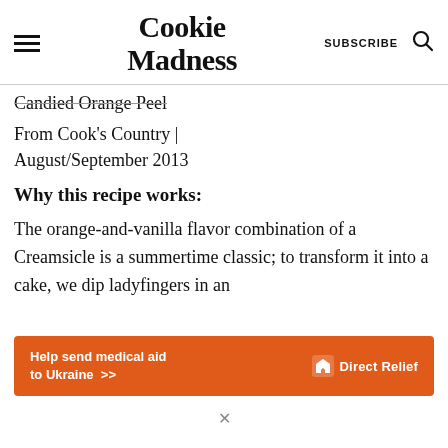Cookie Madness | SUBSCRIBE
Candied Orange Peel
From Cook's Country | August/September 2013
Why this recipe works:
The orange-and-vanilla flavor combination of a Creamsicle is a summertime classic; to transform it into a cake, we dip ladyfingers in an
[Figure (advertisement): Orange banner ad: 'Help send medical aid to Ukraine >>' with Direct Relief logo on right]